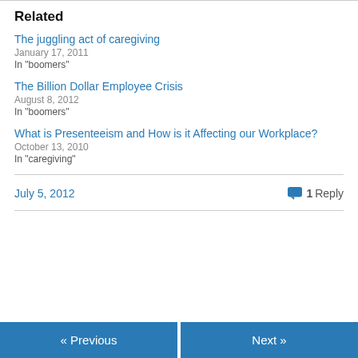Related
The juggling act of caregiving
January 17, 2011
In "boomers"
The Billion Dollar Employee Crisis
August 8, 2012
In "boomers"
What is Presenteeism and How is it Affecting our Workplace?
October 13, 2010
In "caregiving"
July 5, 2012    1 Reply
« Previous    Next »